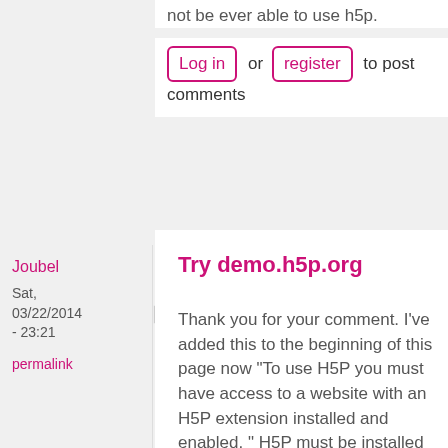not be ever able to use h5p.
Log in or register to post comments
Joubel
Sat, 03/22/2014 - 23:21
permalink
Try demo.h5p.org
Thank you for your comment. I've added this to the beginning of this page now "To use H5P you must have access to a website with an H5P extension installed and enabled. " H5P must be installed in a CMS or LMS and enables that CMS/LMS to create richer